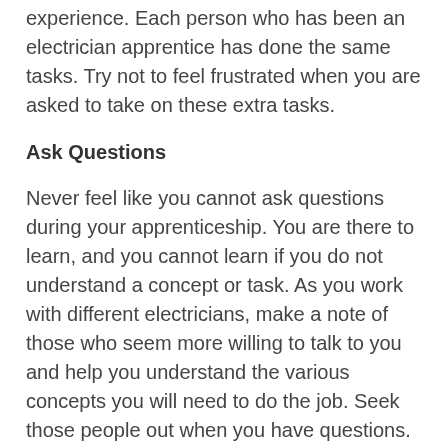experience. Each person who has been an electrician apprentice has done the same tasks. Try not to feel frustrated when you are asked to take on these extra tasks.
Ask Questions
Never feel like you cannot ask questions during your apprenticeship. You are there to learn, and you cannot learn if you do not understand a concept or task. As you work with different electricians, make a note of those who seem more willing to talk to you and help you understand the various concepts you will need to do the job. Seek those people out when you have questions.
Do Not Take on Too Much
While you want to do as much as possible to complete